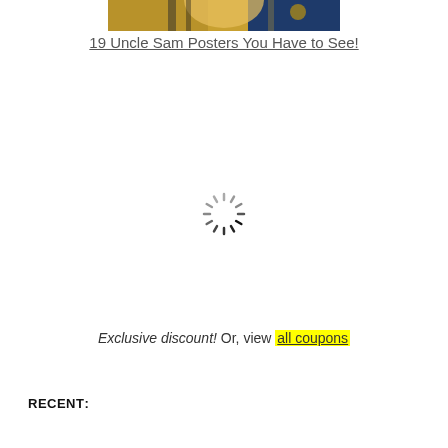[Figure (photo): Partial view of a colorful illustrated poster featuring Uncle Sam character, cropped at the top of the page]
19 Uncle Sam Posters You Have to See!
[Figure (other): Loading spinner icon (circular spinner with radiating lines)]
Exclusive discount! Or, view all coupons
RECENT: